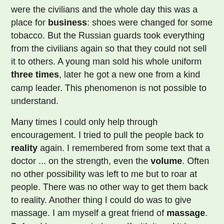were the civilians and the whole day this was a place for business: shoes were changed for some tobacco. But the Russian guards took everything from the civilians again so that they could not sell it to others. A young man sold his whole uniform three times, later he got a new one from a kind camp leader. This phenomenon is not possible to understand.
Many times I could only help through encouragement. I tried to pull the people back to reality again. I remembered from some text that a doctor ... on the strength, even the volume. Often no other possibility was left to me but to roar at people. There was no other way to get them back to reality. Another thing I could do was to give massage. I am myself a great friend of massage. Before I have occupied myself with it and it has turned out to be operative as long as the giver has healthy hands. The hardest cases I handled myself. I was searching for fitting assistance. The prisoner of war does only what he is forced to do. But soon there were a few who could give massage. Many times I let